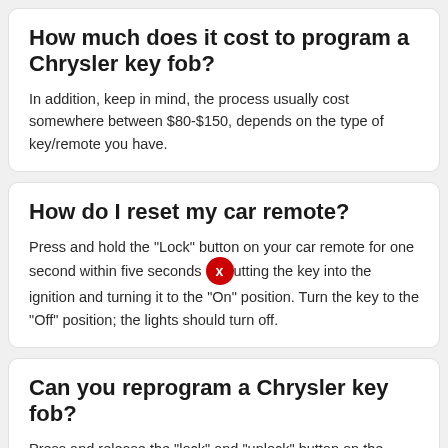How much does it cost to program a Chrysler key fob?
In addition, keep in mind, the process usually cost somewhere between $80-$150, depends on the type of key/remote you have.
How do I reset my car remote?
Press and hold the "Lock" button on your car remote for one second within five seconds of putting the key into the ignition and turning it to the "On" position. Turn the key to the "Off" position; the lights should turn off.
Can you reprogram a Chrysler key fob?
Press and release the "lock" and "unlock" button on the functional key fob, and then simultaneously press and release the "unlock" button on the functional key fob and the key fob you want to program. Listen for the chime to confirm